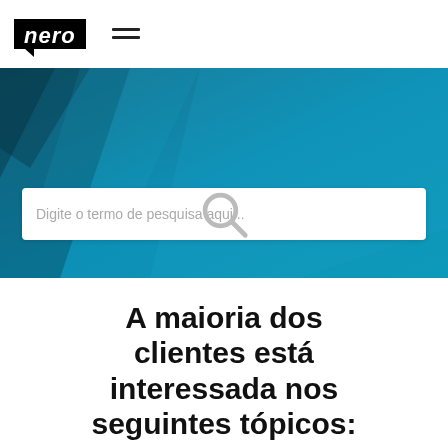[Figure (logo): Nero logo — white bold italic text on black background with speech-bubble tail, followed by a hamburger menu icon]
[Figure (screenshot): Blue teal banner with geometric polygon shapes and a white search box containing placeholder text 'Digite o termo de pesquisa aqui...' and a search icon]
A maioria dos clientes está interessada nos seguintes tópicos: